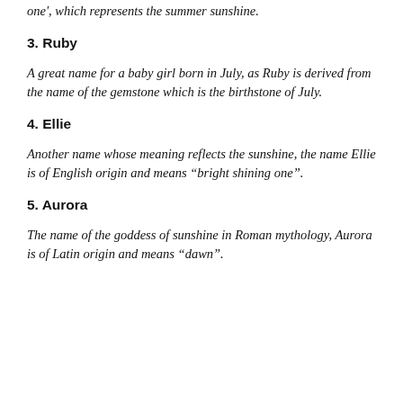one', which represents the summer sunshine.
3. Ruby
A great name for a baby girl born in July, as Ruby is derived from the name of the gemstone which is the birthstone of July.
4. Ellie
Another name whose meaning reflects the sunshine, the name Ellie is of English origin and means “bright shining one”.
5. Aurora
The name of the goddess of sunshine in Roman mythology, Aurora is of Latin origin and means “dawn”.